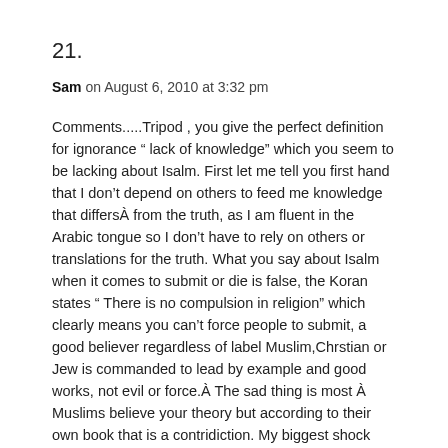21.
Sam on August 6, 2010 at 3:32 pm
Comments.....Tripod , you give the perfect definition for ignorance " lack of knowledge" which you seem to be lacking about Isalm. First let me tell you first hand that I don’t depend on others to feed me knowledge that differsÂ from the truth, as I am fluent in the Arabic tongue so I don’t have to rely on others or translations for the truth. What you say about Isalm when it comes to submit or die is false, the Koran states " There is no compulsion in religion" which clearly means you can’t force people to submit, a good believer regardless of label Muslim,Chrstian or Jew is commanded to lead by example and good works, not evil or force.Â The sad thing is most Â Muslims believe your theory but according to their own book that is a contridiction. My biggest shock when I started the study of religion and the scriptures in general, Koran, Bible,Torah is what God says to doÂ and what the people who are